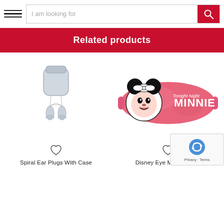I am looking for
Related products
[Figure (photo): Spiral ear plugs with transparent case product image]
Spiral Ear Plugs With Case
[Figure (photo): Pink Disney Minnie Mouse eye mask product image]
Disney Eye Mask Minnie